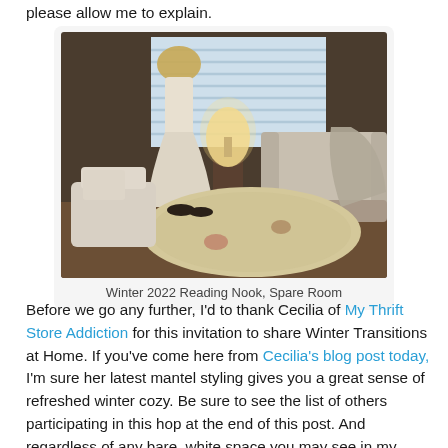please allow me to explain.
[Figure (photo): Interior room photo showing a white dress on a mannequin or hanger near a window with white blinds, a lit table lamp, a beige armchair with a gray throw blanket, a round floral area rug, and women's shoes on the floor. Winter 2022 Reading Nook, Spare Room.]
Winter 2022 Reading Nook, Spare Room
Before we go any further, I'd to thank Cecilia of My Thrift Store Addiction for this invitation to share Winter Transitions at Home. If you've come here from Cecilia's blog post today, I'm sure her latest mantel styling gives you a great sense of refreshed winter cozy. Be sure to see the list of others participating in this hop at the end of this post. And regardless of any bare, white space you may see in my photos, please allow me to explain this transition, the